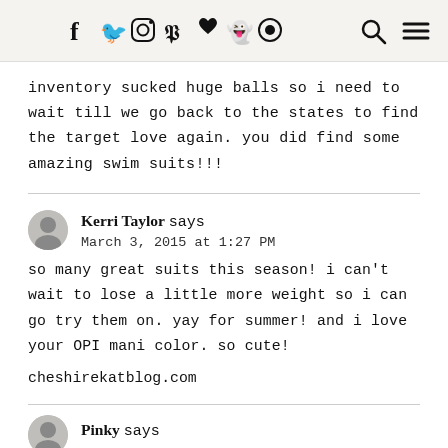Social media icons: f, Twitter, Instagram, Pinterest, heart, Snapchat, circle-icon; search icon; menu icon
inventory sucked huge balls so i need to wait till we go back to the states to find the target love again. you did find some amazing swim suits!!!
Kerri Taylor says
March 3, 2015 at 1:27 PM
so many great suits this season! i can't wait to lose a little more weight so i can go try them on. yay for summer! and i love your OPI mani color. so cute!

cheshirekatblog.com
Pinky says